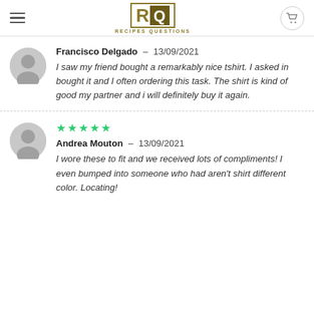Recipes Questions
Francisco Delgado – 13/09/2021
I saw my friend bought a remarkably nice tshirt. I asked in bought it and I often ordering this task. The shirt is kind of good my partner and i will definitely buy it again.
Andrea Mouton – 13/09/2021
I wore these to fit and we received lots of compliments! I even bumped into someone who had aren't shirt different color. Locating!